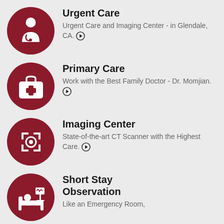Urgent Care
Urgent Care and Imaging Center - in Glendale, CA.
Primary Care
Work with the Best Family Doctor - Dr. Momjian.
Imaging Center
State-of-the-art CT Scanner with the Highest Care.
Short Stay Observation
Like an Emergency Room,